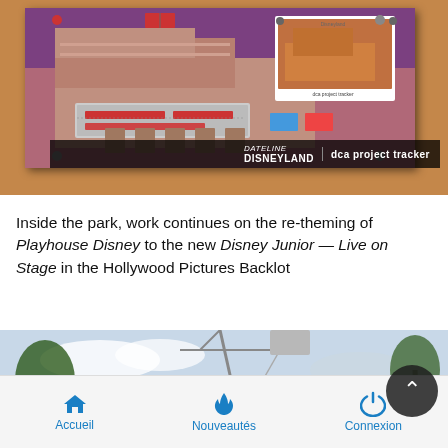[Figure (photo): Concept art of a Disney California Adventure building (Hyperion Theater / Hollywood Pictures Backlot style building) pinned to a cork board, with a small polaroid photo overlay. Watermark at bottom reads 'DATELINE DISNEYLAND | dca project tracker'.]
Inside the park, work continues on the re-theming of Playhouse Disney to the new Disney Junior — Live on Stage in the Hollywood Pictures Backlot
[Figure (photo): Exterior photo of a building at Disney California Adventure (Hollywood Pictures Backlot area) with palm trees and construction crane visible. A scroll-to-top button overlays the lower right.]
Accueil   Nouveautés   Connexion